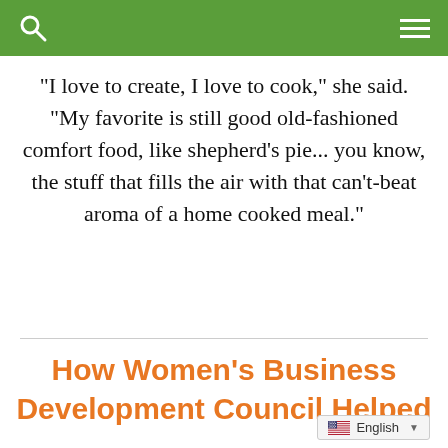“I love to create, I love to cook,” she said. “My favorite is still good old-fashioned comfort food, like shepherd's pie... you know, the stuff that fills the air with that can’t-beat aroma of a home cooked meal.”
How Women’s Business Development Council Helped